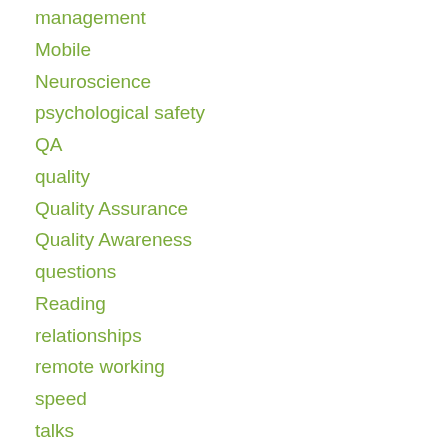management
Mobile
Neuroscience
psychological safety
QA
quality
Quality Assurance
Quality Awareness
questions
Reading
relationships
remote working
speed
talks
Test automation
testability
Testing